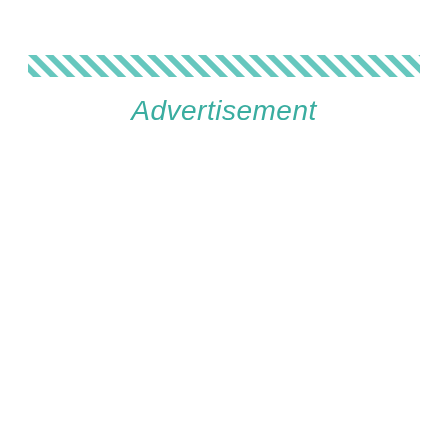[Figure (other): Teal diagonal hatching/stripe pattern bar across the page]
Advertisement